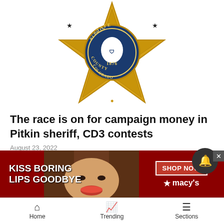[Figure (illustration): Pitkin County Sheriff's star badge, gold color with blue center circle, text reading STATE PITKIN COUNTY 1876 COLORADO]
The race is on for campaign money in Pitkin sheriff, CD3 contests
August 23, 2022
A Michael Buglione for sheriff sign there, a re-elect Joe DiSalvo sign there. Those are signals of an election coming, and somebody has to pay for them.
[Figure (photo): Advertisement banner: KISS BORING LIPS GOODBYE with SHOP NOW Macy's branding and model photo]
Home   Trending   Sections